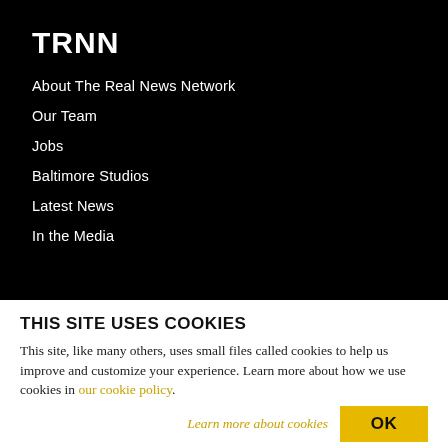TRNN
About The Real News Network
Our Team
Jobs
Baltimore Studios
Latest News
In the Media
THIS SITE USES COOKIES
This site, like many others, uses small files called cookies to help us improve and customize your experience. Learn more about how we use cookies in our cookie policy.
Learn more about cookies
OK